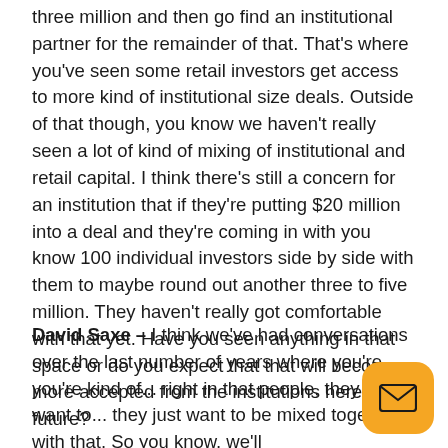three million and then go find an institutional partner for the remainder of that. That's where you've seen some retail investors get access to more kind of institutional size deals. Outside of that though, you know we haven't really seen a lot of kind of mixing of institutional and retail capital. I think there's still a concern for an institution that if they're putting $20 million into a deal and they're coming in with you know 100 individual investors side by side with them to maybe round out another three to five million. They haven't really got comfortable with that yet. Have you seen anything in that space or do you expect that that will become more accepted from the institutions here in the future?
David Saxe – I think we've had conversations over the last number of years where you're you're kind of... right in that people, they don't want to... they just want to be mixed together with that. So you know, we'll